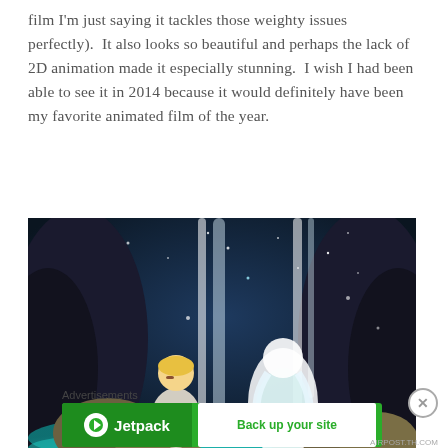film I'm just saying it tackles those weighty issues perfectly).  It also looks so beautiful and perhaps the lack of 2D animation made it especially stunning.  I wish I had been able to see it in 2014 because it would definitely have been my favorite animated film of the year.
[Figure (illustration): Animated film still showing a blonde child character and a large white-haired spirit figure near flowing waterfalls and glowing teal water in a dark cave setting.]
Advertisements
[Figure (screenshot): Jetpack advertisement banner with green background, Jetpack logo on the left and a 'Back up your site' button on the right.]